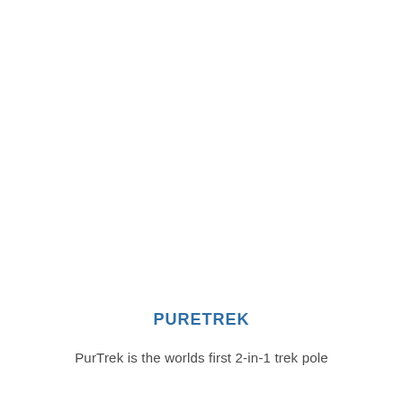PURETREK
PurTrek is the worlds first 2-in-1 trek pole